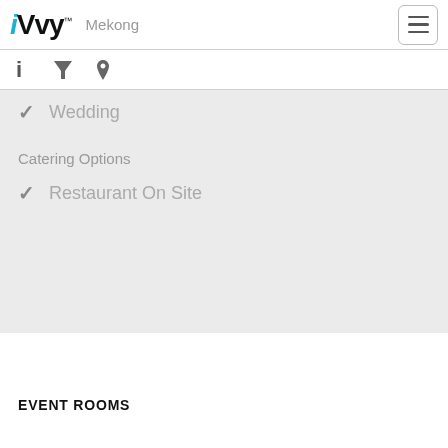iVvy  Mekong
✓ Wedding
Catering Options
✓ Restaurant On Site
EVENT ROOMS